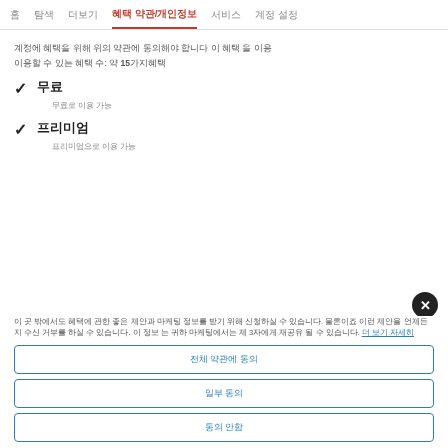홈   탐색   더보기   혜택 약관/개인정보   서비스   계정 설정
계정에 혜택을 위해 위의 약관에 동의해야 합니다 이 혜택 을 이용
이용할 수 있는 혜택 수: 약 15가지혜택
✓ 무료
무료로 이용 가능
✓ 프리미엄
프리미엄으로 이용 가능
이 곳 밖에서도 혜택에 관한 좋은 제안과 마케팅 정보를 받기 위해 신청하실 수 있습니다. 물론이죠 이런 제안을 언제든지 수신 거부를 하실 수 있습니다. 이 정보 는 귀하 마케팅에서는 제 3자에게 재공유 될 수 있습니다. 더 보기 자세히
전체 약관에 동의
일부 동의
동의 안함